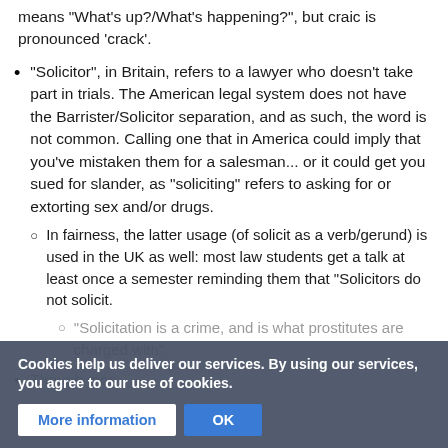means "What's up?/What's happening?", but craic is pronounced 'crack'.
"Solicitor", in Britain, refers to a lawyer who doesn't take part in trials. The American legal system does not have the Barrister/Solicitor separation, and as such, the word is not common. Calling one that in America could imply that you've mistaken them for a salesman... or it could get you sued for slander, as "soliciting" refers to asking for or extorting sex and/or drugs.
In fairness, the latter usage (of solicit as a verb/gerund) is used in the UK as well: most law students get a talk at least once a semester reminding them that "Solicitors do not solicit."
"Solicitation is a crime, and is what prostitutes are charged with".
Though mos... are... in the UK
Cookies help us deliver our services. By using our services, you agree to our use of cookies.
More information | OK